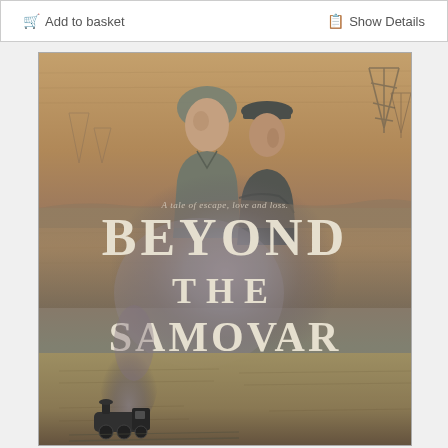Add to basket
Show Details
[Figure (illustration): Book cover for 'Beyond the Samovar'. Features two people (a woman in a headscarf and a man in a flat cap) standing against a sepia-toned industrial landscape with oil derricks. Text overlay reads 'A tale of escape, love and loss.' Main title 'BEYOND THE SAMOVAR' in large serif font. Bottom shows a steam train with smoke billowing upward, set against a handwritten manuscript background.]